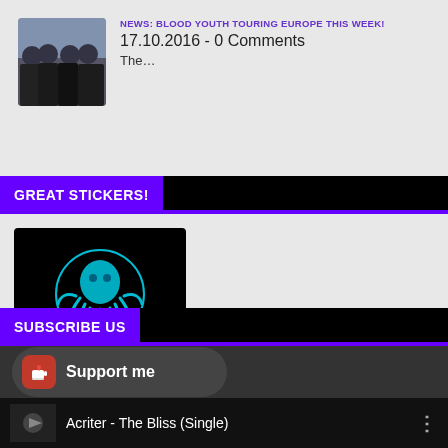[Figure (photo): Thumbnail photo of band members in black t-shirts against a blue background]
NEWS: BLOOD YOUTH TOURING EUROPE THIS WEEK!
17.10.2016 - 0 Comments
The...
GREAT STICKERS!
[Figure (logo): Cryptid Designs & Print logo — cyan octopus in a circle on black background]
SUBSCRIBE US
[Figure (screenshot): Support me button with heart/coffee cup icon]
Acriter - The Bliss (Single)